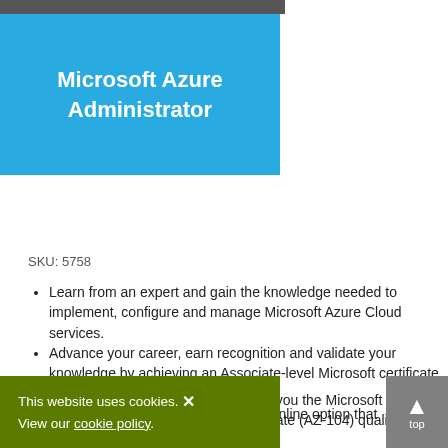[Figure (screenshot): Blue banner with white bold text reading 'Microsoft Azure Administrator', with a dark header bar at the top]
Leave a Review
SKU: 5758
Learn from an expert and gain the knowledge needed to implement, configure and manage Microsoft Azure Cloud services.
Advance your career, earn recognition and validate your knowledge by achieving an Associate-level Microsoft certificate in just four days.
Learn from anywhere with our Live Online option that keeping travel and costs to a
ourse and included exam will award you the Microsoft Certified: Azure Administrator Associate (AZ-104) qualification and 28 CPD points.
This website uses cookies. View our cookie policy.